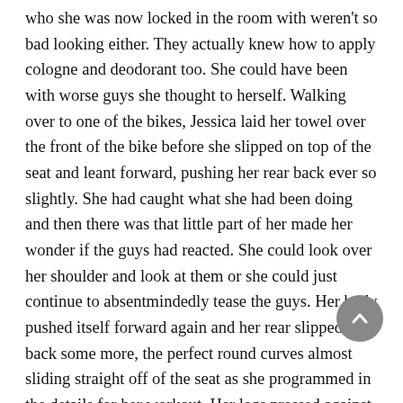who she was now locked in the room with weren't so bad looking either. They actually knew how to apply cologne and deodorant too. She could have been with worse guys she thought to herself. Walking over to one of the bikes, Jessica laid her towel over the front of the bike before she slipped on top of the seat and leant forward, pushing her rear back ever so slightly. She had caught what she had been doing and then there was that little part of her made her wonder if the guys had reacted. She could look over her shoulder and look at them or she could just continue to absentmindedly tease the guys. Her body pushed itself forward again and her rear slipped back some more, the perfect round curves almost sliding straight off of the seat as she programmed in the details for her workout. Her legs pressed against the resistance of the bike, much to her delight, as she began the warm up part of her exercise session.Across the short